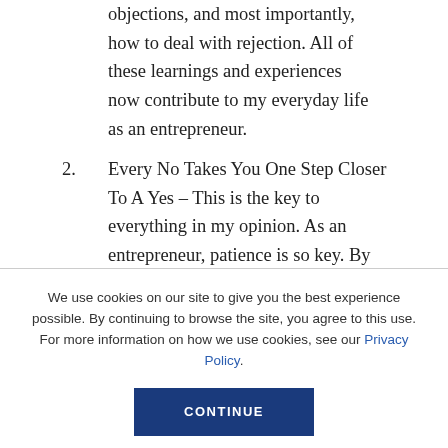objections, and most importantly, how to deal with rejection. All of these learnings and experiences now contribute to my everyday life as an entrepreneur.
2. Every No Takes You One Step Closer To A Yes – This is the key to everything in my opinion. As an entrepreneur, patience is so key. By understanding this concept,
We use cookies on our site to give you the best experience possible. By continuing to browse the site, you agree to this use. For more information on how we use cookies, see our Privacy Policy.
CONTINUE